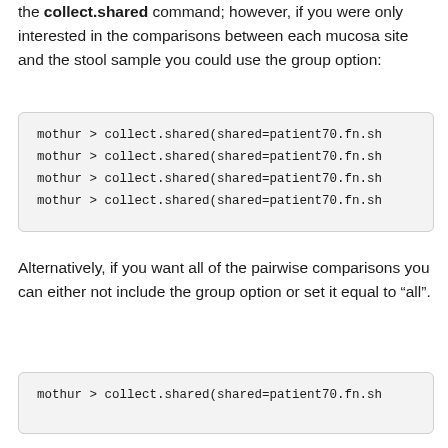the collect.shared command; however, if you were only interested in the comparisons between each mucosa site and the stool sample you could use the group option:
mothur > collect.shared(shared=patient70.fn.sh
mothur > collect.shared(shared=patient70.fn.sh
mothur > collect.shared(shared=patient70.fn.sh
mothur > collect.shared(shared=patient70.fn.sh
Alternatively, if you want all of the pairwise comparisons you can either not include the group option or set it equal to “all”.
mothur > collect.shared(shared=patient70.fn.sh